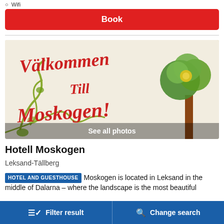Wifi
Book
[Figure (photo): Decorative folk-art painting on white background with Swedish text 'Välkommen Till Moskogen!' in red calligraphy with green floral scrollwork, and a stylized tree on the right side.]
See all photos
Hotell Moskogen
Leksand-Tällberg
HOTEL AND GUESTHOUSE  Moskogen is located in Leksand in the middle of Dalarna – where the landscape is the most beautiful
Filter result   Change search